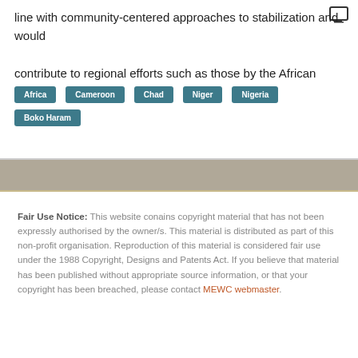line with community-centered approaches to stabilization and would contribute to regional efforts such as those by the African Union.
Africa
Cameroon
Chad
Niger
Nigeria
Boko Haram
Fair Use Notice: This website conains copyright material that has not been expressly authorised by the owner/s. This material is distributed as part of this non-profit organisation. Reproduction of this material is considered fair use under the 1988 Copyright, Designs and Patents Act. If you believe that material has been published without appropriate source information, or that your copyright has been breached, please contact MEWC webmaster.